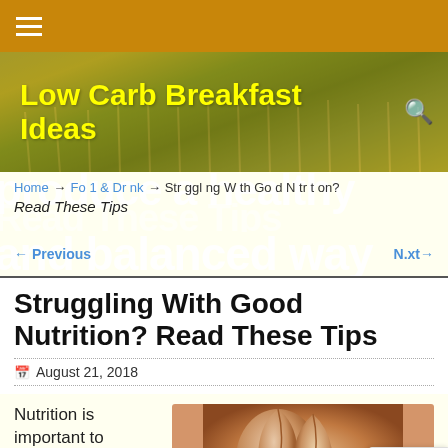Navigation bar with hamburger menu
[Figure (screenshot): Website header banner with wheat field background and yellow bold text reading 'Low Carb Breakfast Ideas' with a search icon]
Low Carb Breakfast Ideas
Home → Food & Drink → Struggling With Good Nutrition? Read These Tips
← Previous   Next →
Struggling With Good Nutrition? Read These Tips
August 21, 2018
Nutrition is important to anyone's health and
[Figure (photo): Close-up photo of broken egg shells on a surface]
[Figure (other): reCAPTCHA badge with Google reCAPTCHA logo, Privacy and Terms links]